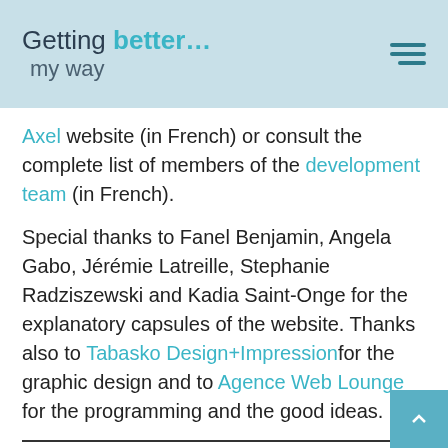Getting better... my way
Axel website (in French) or consult the complete list of members of the development team (in French).
Special thanks to Fanel Benjamin, Angela Gabo, Jérémie Latreille, Stephanie Radziszewski and Kadia Saint-Onge for the explanatory capsules of the website. Thanks also to Tabasko Design+Impression for the graphic design and to Agence Web Lounge for the programming and the good ideas.
What is the Getting Better